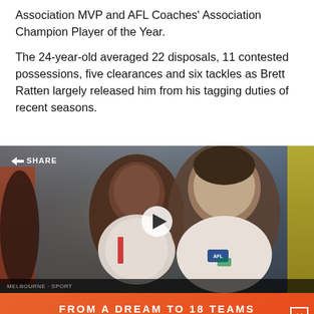Association MVP and AFL Coaches' Association Champion Player of the Year.
The 24-year-old averaged 22 disposals, 11 contested possessions, five clearances and six tackles as Brett Ratten largely released him from his tagging duties of recent seasons.
[Figure (photo): Video thumbnail showing two AFL players in white jerseys smiling, with crowd in background. Share button top-left, 7Sport LIVE & FREE logo top-right, play button overlay in center.]
[Figure (infographic): Orange advertisement banner reading 'FROM A DREAM TO 18 TEAMS' and 'DREAM ON' in bold white/dark text, with a close (X) button on the right.]